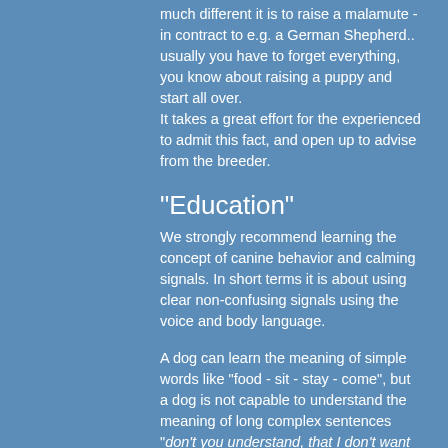much different it is to raise a malamute - in contract to e.g. a German Shepherd.. usually you have to forget everything, you know about raising a puppy and start all over.
It takes a great effort for the experienced to admit this fact, and open up to advise from the breeder.
"Education"
We strongly recommend learning the concept of canine behavior and calming signals. In short terms it is about using clear non-confusing signals using the voice and body language.
A dog can learn the meaning of simple words like "food - sit - stay - come", but a dog is not capable to understand the meaning of long complex sentences "don't you understand, that I don't want you to dig in the flowerbed..?" it would sound like "blah blah blah..